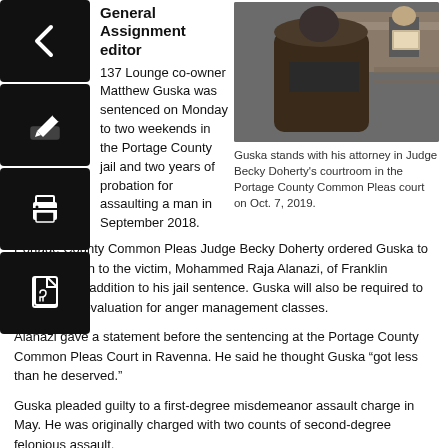General Assignment
editor
137 Lounge co-owner Matthew Guska was sentenced on Monday to two weekends in the Portage County jail and two years of probation for assaulting a man in September 2018.
[Figure (photo): Photo of Guska standing with his attorney in a courtroom, viewed from behind, with a judge visible in the background.]
Guska stands with his attorney in Judge Becky Doherty's courtroom in the Portage County Common Pleas court on Oct. 7, 2019.
Portage County Common Pleas Judge Becky Doherty ordered Guska to pay restitution to the victim, Mohammed Raja Alanazi, of Franklin Township, in addition to his jail sentence. Guska will also be required to undergo an evaluation for anger management classes.
Alanazi gave a statement before the sentencing at the Portage County Common Pleas Court in Ravenna. He said he thought Guska “got less than he deserved.”
Guska pleaded guilty to a first-degree misdemeanor assault charge in May. He was originally charged with two counts of second-degree felonious assault.